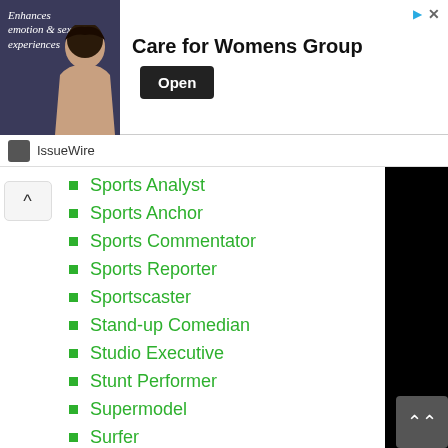[Figure (other): Advertisement banner: Care for Womens Group with woman photo and Open button]
IssueWire
Sports Analyst
Sports Anchor
Sports Commentator
Sports Reporter
Sportscaster
Stand-up Comedian
Studio Executive
Stunt Performer
Supermodel
Surfer
Surgeon